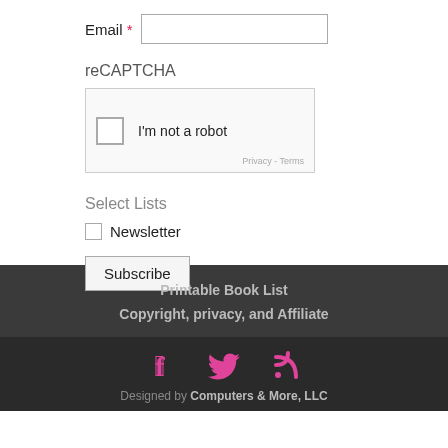Email *
reCAPTCHA
[Figure (other): reCAPTCHA widget with checkbox labeled 'I'm not a robot', Privacy and Terms links]
Select Lists
Newsletter (checkbox)
Subscribe
Printable Book List
Copyright, privacy, and Affiliate
[Figure (other): Social media icons: Facebook, Twitter, RSS feed in pink/magenta color]
Designed by Computers & More, LLC